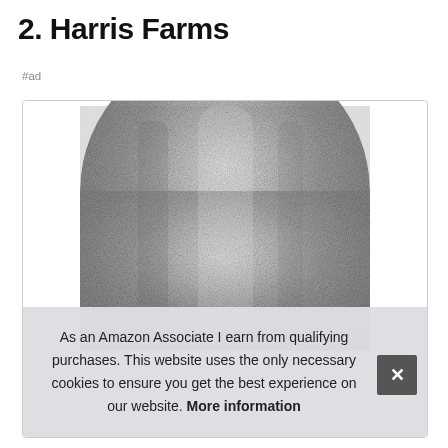2. Harris Farms
#ad
[Figure (photo): Close-up photo of a metallic/galvanized product from Harris Farms, showing a rounded top surface with silvery speckled texture.]
As an Amazon Associate I earn from qualifying purchases. This website uses the only necessary cookies to ensure you get the best experience on our website. More information